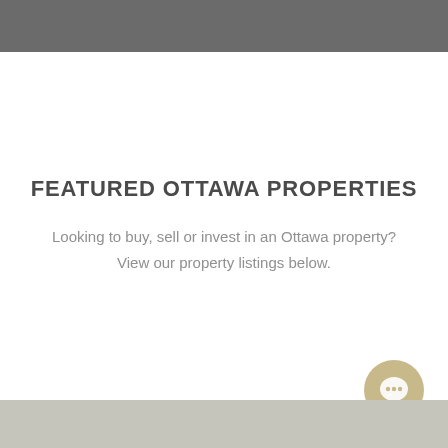FEATURED OTTAWA PROPERTIES
Looking to buy, sell or invest in an Ottawa property? View our property listings below.
[Figure (other): Chat button icon (circular button with speech bubble icon) in bottom-right area]